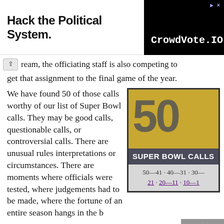[Figure (infographic): Advertisement banner: 'Hack the Political System.' text on left, CrowdVote.IO logo on black background on right.]
ream, the officiating staff is also competing to get that assignment to the final game of the year.
We have found 50 of those calls worthy of our list of Super Bowl calls. They may be good calls, questionable calls, or controversial calls. There are unusual rules interpretations or circumstances. There are moments where officials were tested, where judgements had to be made, where the fortune of an entire season hangs in the balance.
[Figure (infographic): Super Bowl Calls graphic: gold background with large '50' in gray, dark banner reading 'SUPER BOWL CALLS', with links: 50-41, 40-31, 30-21, 20-11, 10-1]